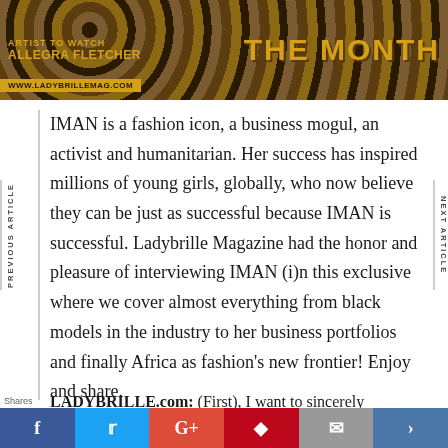[Figure (photo): Magazine banner with leopard-print background, text 'ARTIST TO WATCH ALLEGRA FLETCHER', website 'WWW.LADYBRILLEMAG.COM', and title 'THE MONTH' in gold text]
IMAN is a fashion icon, a business mogul, an activist and humanitarian. Her success has inspired millions of young girls, globally, who now believe they can be just as successful because IMAN is successful. Ladybrille Magazine had the honor and pleasure of interviewing IMAN (i)n this exclusive where we cover almost everything from black models in the industry to her business portfolios and finally Africa as fashion's new frontier! Enjoy and share.
LADYBRILLE.com: (First), I want to sincerely